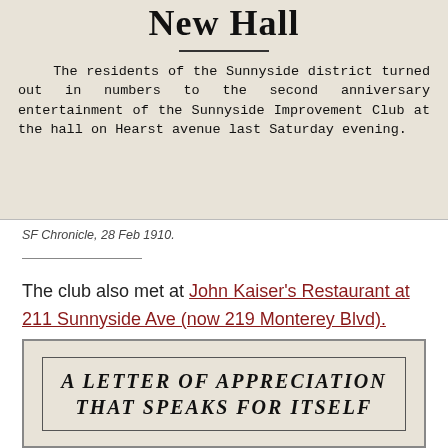[Figure (photo): Newspaper clipping showing title 'New Hall' with a horizontal rule and body text about the Sunnyside district residents attending the second anniversary entertainment of the Sunnyside Improvement Club at the hall on Hearst avenue last Saturday evening.]
SF Chronicle, 28 Feb 1910.
The club also met at John Kaiser's Restaurant at 211 Sunnyside Ave (now 219 Monterey Blvd).
[Figure (photo): Newspaper clipping with decorative border reading: A LETTER OF APPRECIATION THAT SPEAKS FOR ITSELF]